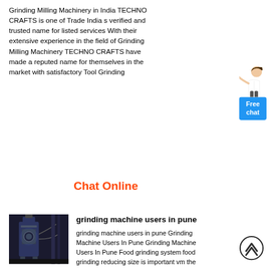Grinding Milling Machinery in India TECHNO CRAFTS is one of Trade India s verified and trusted name for listed services With their extensive experience in the field of Grinding Milling Machinery TECHNO CRAFTS have made a reputed name for themselves in the market with satisfactory Tool Grinding
Chat Online
[Figure (photo): Industrial grinding machine in a factory setting]
grinding machine users in pune
grinding machine users in pune Grinding Machine Users In Pune Grinding Machine Users In Pune Food grinding system food grinding reducing size is important vm the pioneer in the field meets your needs for variety of applications through a chain of processes such as precrushing to micro fine grinding grading and handling of bulk powder materials with almost dust free operationAs a